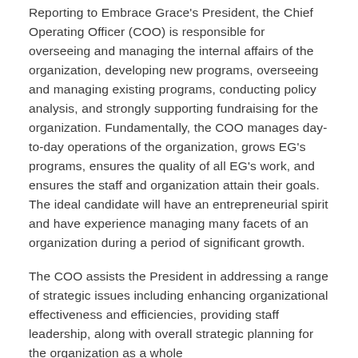Reporting to Embrace Grace's President, the Chief Operating Officer (COO) is responsible for overseeing and managing the internal affairs of the organization, developing new programs, overseeing and managing existing programs, conducting policy analysis, and strongly supporting fundraising for the organization. Fundamentally, the COO manages day-to-day operations of the organization, grows EG's programs, ensures the quality of all EG's work, and ensures the staff and organization attain their goals. The ideal candidate will have an entrepreneurial spirit and have experience managing many facets of an organization during a period of significant growth.
The COO assists the President in addressing a range of strategic issues including enhancing organizational effectiveness and efficiencies, providing staff leadership, along with overall strategic planning for the organization as a whole